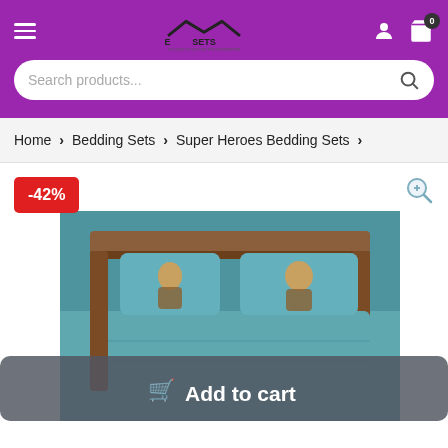[Figure (screenshot): E-commerce website header with purple background, hamburger menu, logo (Elite Sets), user icon, cart icon with badge showing 0]
[Figure (screenshot): Search bar with rounded pill shape, placeholder text 'Search products...' and search icon on right]
Home > Bedding Sets > Super Heroes Bedding Sets >
-42%
[Figure (photo): Product photo of a Super Heroes bedding set on a bed, featuring a warrior character artwork in teal/blue tones. Shown with pillows and full bed setup.]
Add to cart